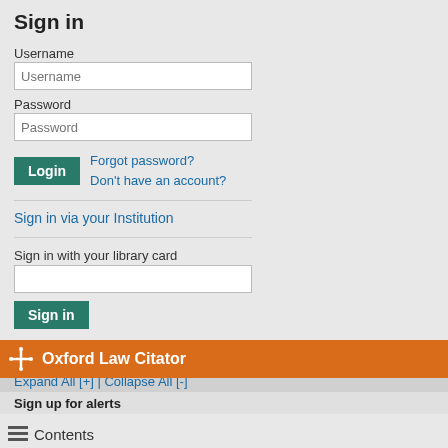Sign in
Username
Password
Forgot password?
Don't have an account?
Sign in via your Institution
Sign in with your library card
Oxford Law Citator
Contents
Expand All [+] | Collapse All [-]
Sign up for alerts
127.  With the declaration of t different rules and measures, at-home duties, the closing of Apart from a pedagogical app major enforcement operations, well as public transportation h in force and to ensure unnece important role in recommendin establishments or closing faci
128.  A close collaboration als System (Sistema de Seguranc Nacional de Emergência e Pr Emergência Médica -INEM), t Aviation Authority (Autoridade firemen, local government aut
129.  As for the military, they p technical, logistical, and huma maintaining its staff at a high l infected people and the clean in several military units, which
130.  Civil fines, some quite e